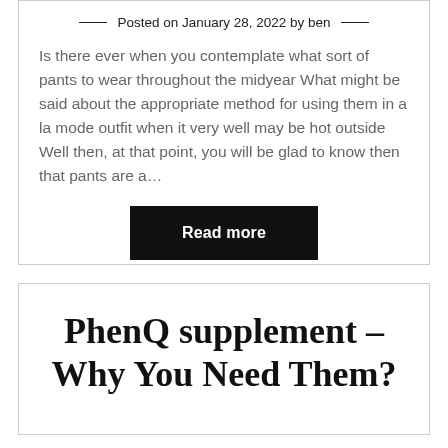Posted on January 28, 2022 by ben
Is there ever when you contemplate what sort of pants to wear throughout the midyear What might be said about the appropriate method for using them in a la mode outfit when it very well may be hot outside Well then, at that point, you will be glad to know then that pants are a…
Read more
PhenQ supplement – Why You Need Them?